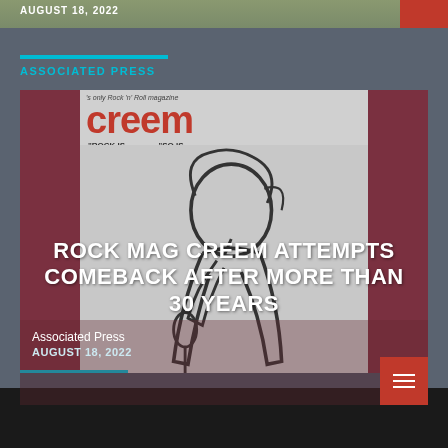AUGUST 18, 2022
ASSOCIATED PRESS
ROCK MAG CREEM ATTEMPTS COMEBACK AFTER MORE THAN 30 YEARS
Associated Press
AUGUST 18, 2022
[Figure (photo): Cover of Creem rock magazine showing the masthead 'creem' in large red letters, with a black and white illustration of a singer holding a microphone, set against a red and gray background]